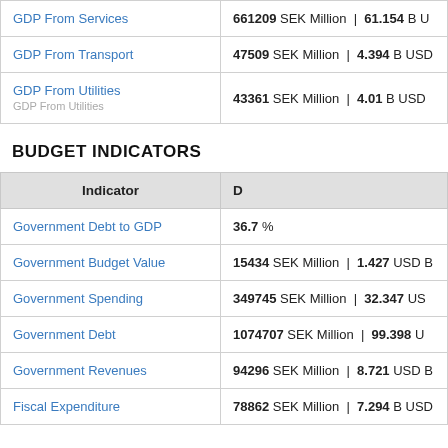| Indicator | D |
| --- | --- |
| GDP From Services | 661209 SEK Million | 61.154 B U |
| GDP From Transport | 47509 SEK Million | 4.394 B USD |
| GDP From Utilities | 43361 SEK Million | 4.01 B USD |
BUDGET INDICATORS
| Indicator | D |
| --- | --- |
| Government Debt to GDP | 36.7 % |
| Government Budget Value | 15434 SEK Million | 1.427 USD B |
| Government Spending | 349745 SEK Million | 32.347 US |
| Government Debt | 1074707 SEK Million | 99.398 U |
| Government Revenues | 94296 SEK Million | 8.721 USD B |
| Fiscal Expenditure | 78862 SEK Million | 7.294 B USD |